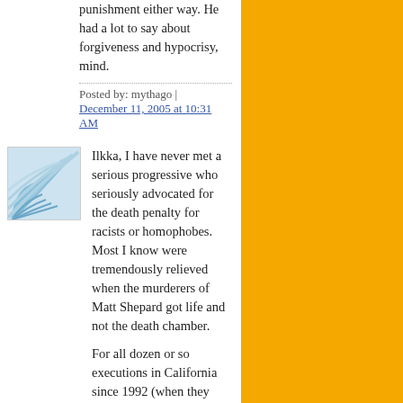punishment either way. He had a lot to say about forgiveness and hypocrisy, mind.
Posted by: mythago | December 11, 2005 at 10:31 AM
[Figure (illustration): Blue and white wave/shell pattern avatar image]
Ilkka, I have never met a serious progressive who seriously advocated for the death penalty for racists or homophobes. Most I know were tremendously relieved when the murderers of Matt Shepard got life and not the death chamber.
For all dozen or so executions in California since 1992 (when they resumed with Robert